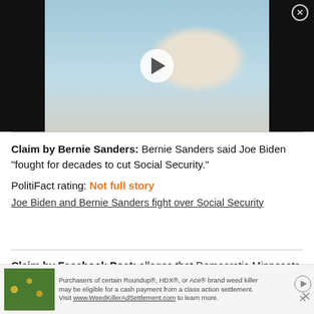[Figure (photo): Video thumbnail showing a man smoking/vaping an e-cigarette with a play button overlay, on dark background]
Claim by Bernie Sanders: Bernie Sanders said Joe Biden “fought for decades to cut Social Security.”
PolitiFact rating: Not full story
Joe Biden and Bernie Sanders fight over Social Security
Claim by Facebook Post: alleges that Democratic Minnesota Rep. Ilhan Omar “threatened” to send shawarma to Republican members of Congress to “give them a taste of her culture.”
[Figure (photo): Advertisement banner: Roundup/HDX/Ace brand weed killer class action settlement ad with plant imagery]